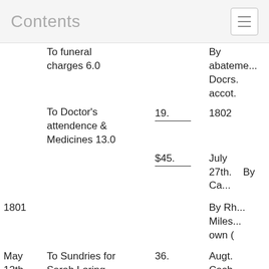Contents
| Date | Description | Amount | Credit |
| --- | --- | --- | --- |
|  | To funeral charges 6.0 |  | By abateme... Docrs. accot. |
|  | To Doctor's attendence & Medicines 13.0 | 19. | 1802 |
|  |  | $45. | July 27th.   By Ca... |
| 1801 |  |  | By Rh... Miles... own ( |
| May 12th. | To Sundries for Sarah Loring, alowed by the Selectmen of Barnstable as per their Letter | 36. | Augt. Cash |